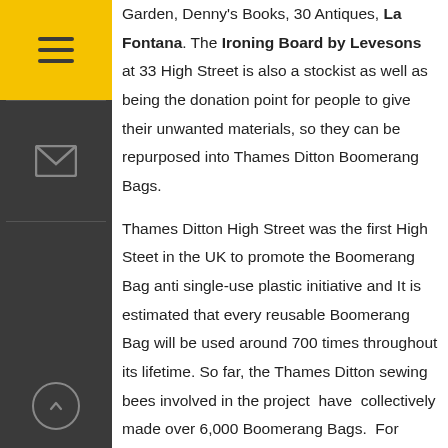Garden, Denny's Books, 30 Antiques, La Fontana. The Ironing Board by Levesons at 33 High Street is also a stockist as well as being the donation point for people to give their unwanted materials, so they can be repurposed into Thames Ditton Boomerang Bags.

Thames Ditton High Street was the first High Steet in the UK to promote the Boomerang Bag anti single-use plastic initiative and It is estimated that every reusable Boomerang Bag will be used around 700 times throughout its lifetime. So far, the Thames Ditton sewing bees involved in the project have collectively made over 6,000 Boomerang Bags. For more info go to FaceBook @tdboomerangbags and Instagram @thamesdittonboomerangbags